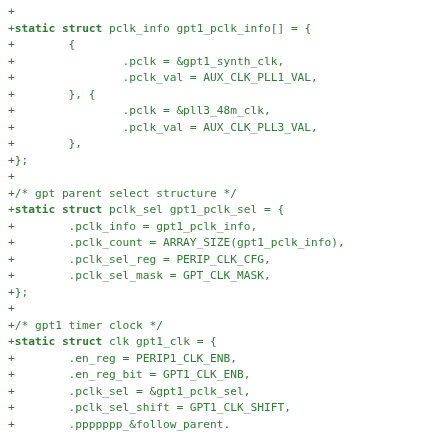+
+static struct pclk_info gpt1_pclk_info[] = {
+        {
+                .pclk = &gpt1_synth_clk,
+                .pclk_val = AUX_CLK_PLL1_VAL,
+        }, {
+                .pclk = &pll3_48m_clk,
+                .pclk_val = AUX_CLK_PLL3_VAL,
+        },
+};
+
+/* gpt parent select structure */
+static struct pclk_sel gpt1_pclk_sel = {
+        .pclk_info = gpt1_pclk_info,
+        .pclk_count = ARRAY_SIZE(gpt1_pclk_info),
+        .pclk_sel_reg = PERIP_CLK_CFG,
+        .pclk_sel_mask = GPT_CLK_MASK,
+};
+
+/* gpt1 timer clock */
+static struct clk gpt1_clk = {
+        .en_reg = PERIP1_CLK_ENB,
+        .en_reg_bit = GPT1_CLK_ENB,
+        .pclk_sel = &gpt1_pclk_sel,
+        .pclk_sel_shift = GPT1_CLK_SHIFT,
+        .ppppppp_Afollow_parent.